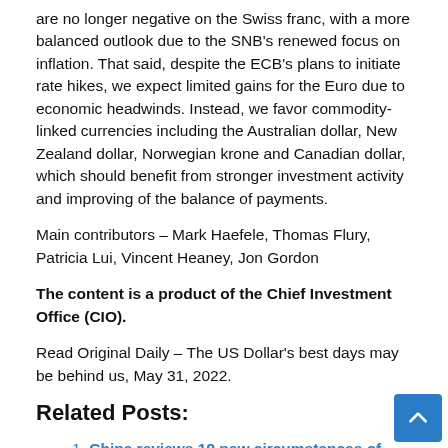are no longer negative on the Swiss franc, with a more balanced outlook due to the SNB's renewed focus on inflation. That said, despite the ECB's plans to initiate rate hikes, we expect limited gains for the Euro due to economic headwinds. Instead, we favor commodity-linked currencies including the Australian dollar, New Zealand dollar, Norwegian krone and Canadian dollar, which should benefit from stronger investment activity and improving of the balance of payments.
Main contributors – Mark Haefele, Thomas Flury, Patricia Lui, Vincent Heaney, Jon Gordon
The content is a product of the Chief Investment Office (CIO).
Read Original Daily – The US Dollar's best days may be behind us, May 31, 2022.
Related Posts:
China reviews 19 new circumstances of COVID-19 on mainland in comparison with 13 a day earlier